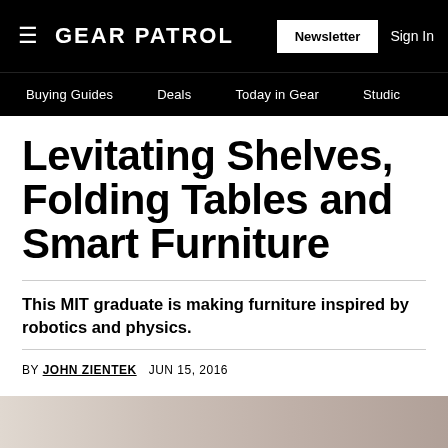GEAR PATROL  Newsletter  Sign In
Buying Guides  Deals  Today in Gear  Studio
Levitating Shelves, Folding Tables and Smart Furniture
This MIT graduate is making furniture inspired by robotics and physics.
BY JOHN ZIENTEK  JUN 15, 2016
[Figure (photo): Partial photo strip at bottom of page showing blurred image]